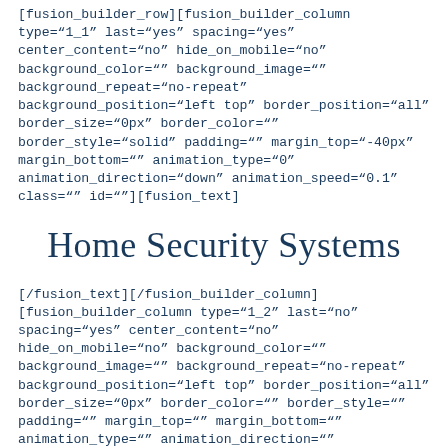[fusion_builder_row][fusion_builder_column type="1_1" last="yes" spacing="yes" center_content="no" hide_on_mobile="no" background_color="" background_image="" background_repeat="no-repeat" background_position="left top" border_position="all" border_size="0px" border_color="" border_style="solid" padding="" margin_top="-40px" margin_bottom="" animation_type="0" animation_direction="down" animation_speed="0.1" class="" id=""][fusion_text]
Home Security Systems
[/fusion_text][/fusion_builder_column] [fusion_builder_column type="1_2" last="no" spacing="yes" center_content="no" hide_on_mobile="no" background_color="" background_image="" background_repeat="no-repeat" background_position="left top" border_position="all" border_size="0px" border_color="" border_style="" padding="" margin_top="" margin_bottom="" animation_type="" animation_direction="" animation_speed="0.1" class="" id=""][fusion_text]